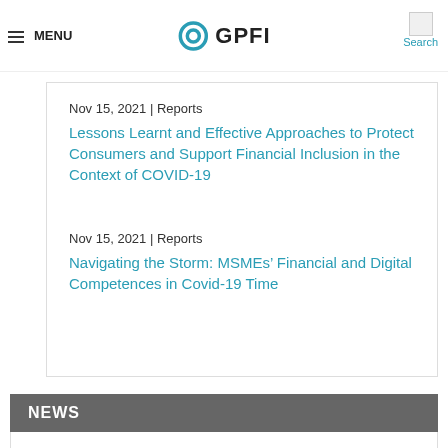GPFI | MENU | Search
Resilience in the market for international remittances during the COVID-19 crisis
Nov 15, 2021 | Reports
Lessons Learnt and Effective Approaches to Protect Consumers and Support Financial Inclusion in the Context of COVID-19
Nov 15, 2021 | Reports
Navigating the Storm: MSMEs’ Financial and Digital Competences in Covid-19 Time
NEWS
International Seminar “Digital Transformation for Financial Inclusion of Women, Youth and MSMEs to Promote Inclusive Growth”